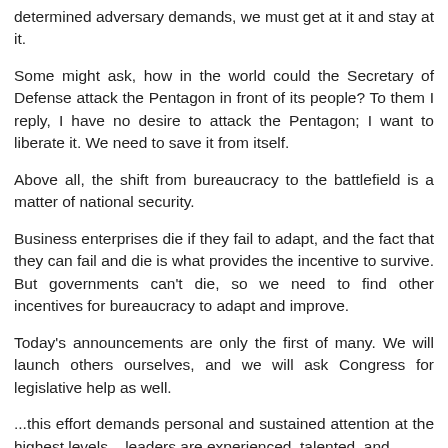determined adversary demands, we must get at it and stay at it.
Some might ask, how in the world could the Secretary of Defense attack the Pentagon in front of its people? To them I reply, I have no desire to attack the Pentagon; I want to liberate it. We need to save it from itself.
Above all, the shift from bureaucracy to the battlefield is a matter of national security.
Business enterprises die if they fail to adapt, and the fact that they can fail and die is what provides the incentive to survive. But governments can't die, so we need to find other incentives for bureaucracy to adapt and improve.
Today's announcements are only the first of many. We will launch others ourselves, and we will ask Congress for legislative help as well.
...this effort demands personal and sustained attention at the highest levels ...leaders are experienced, talented, and